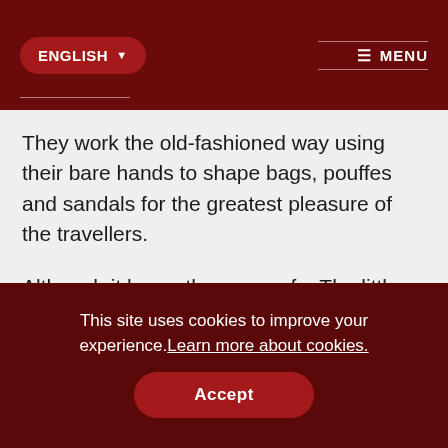ENGLISH  MENU
They work the old-fashioned way using their bare hands to shape bags, pouffes and sandals for the greatest pleasure of the travellers.
Although it bears the name of « The little Marrakech », Taroudant has a whole different history to share and experiences to give.
This site uses cookies to improve your experience. Learn more about cookies.
Accept